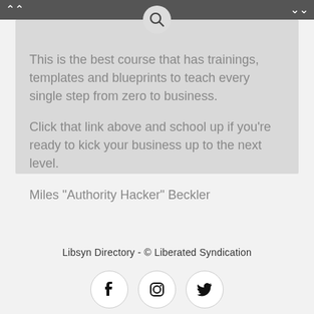This is the best course that has trainings, templates and blueprints to teach every single step from zero to business.

Click that link above and school up if you're ready to kick your business up to the next level.

Miles "Authority Hacker" Beckler
Libsyn Directory - © Liberated Syndication